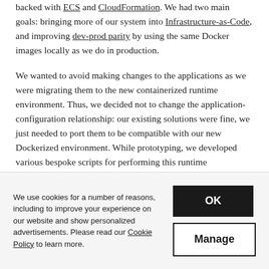backed with ECS and CloudFormation. We had two main goals: bringing more of our system into Infrastructure-as-Code, and improving dev-prod parity by using the same Docker images locally as we do in production.
We wanted to avoid making changes to the applications as we were migrating them to the new containerized runtime environment. Thus, we decided not to change the application-configuration relationship: our existing solutions were fine, we just needed to port them to be compatible with our new Dockerized environment. While prototyping, we developed various bespoke scripts for performing this runtime configuration for every service we migrated, for example:
We use cookies for a number of reasons, including to improve your experience on our website and show personalized advertisements. Please read our Cookie Policy to learn more.